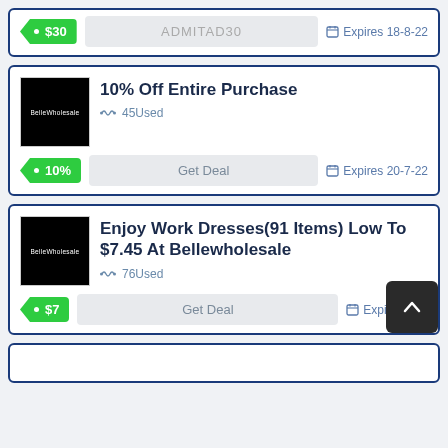$30 • ADMITAD30 • Expires 18-8-22
10% Off Entire Purchase
45Used
10% • Get Deal • Expires 20-7-22
Enjoy Work Dresses(91 Items) Low To $7.45 At Bellewholesale
76Used
$7 • Get Deal • Expires 7-8-...